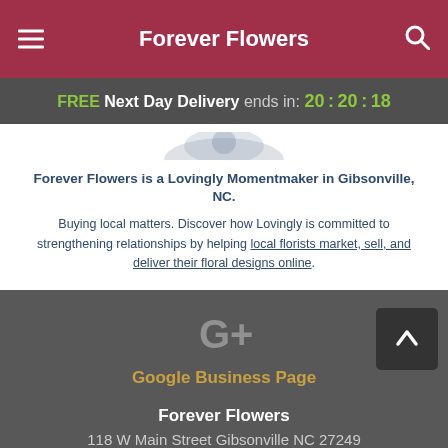Forever Flowers
FREE Next Day Delivery ends in: 20:20:18
Forever Flowers is a Lovingly Momentmaker in Gibsonville, NC.
Buying local matters. Discover how Lovingly is committed to strengthening relationships by helping local florists market, sell, and deliver their floral designs online.
Google Business Page
Forever Flowers
118 W Main Street Gibsonville NC 27249
+1 (336) 449-7488